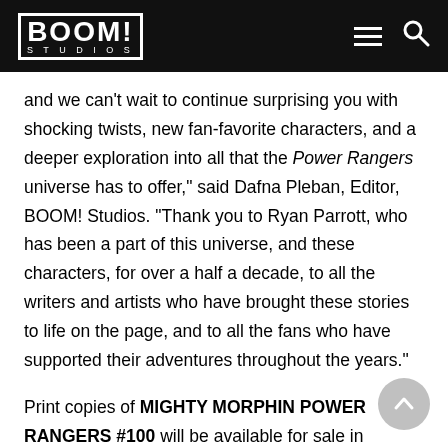BOOM! STUDIOS
and we can't wait to continue surprising you with shocking twists, new fan-favorite characters, and a deeper exploration into all that the Power Rangers universe has to offer," said Dafna Pleban, Editor, BOOM! Studios. "Thank you to Ryan Parrott, who has been a part of this universe, and these characters, for over a half a decade, to all the writers and artists who have brought these stories to life on the page, and to all the fans who have supported their adventures throughout the years."
Print copies of MIGHTY MORPHIN POWER RANGERS #100 will be available for sale in